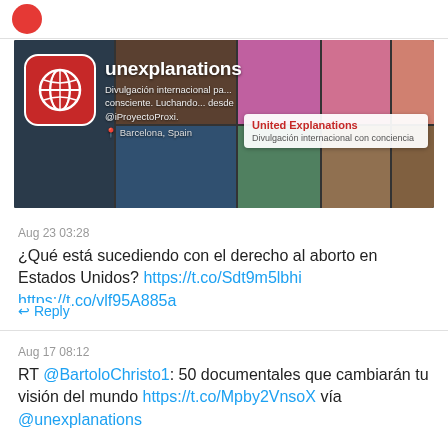[Figure (screenshot): Twitter profile banner for 'unexplanations' — United Explanations account. Shows a grid of photos (people, landscapes, food, faces) with a red rounded-square globe logo icon, profile name 'unexplanations', description 'Divulgación internacional para una ciudadanía consciente. Luchando... desde @iProyectoProxi.', location 'Barcelona, Spain', and an overlay tooltip showing 'United Explanations' and 'Divulgación internacional con conciencia'.]
Aug 23 03:28
¿Qué está sucediendo con el derecho al aborto en Estados Unidos? https://t.co/Sdt9m5lbhi https://t.co/vlf95A885a
↩ Reply
Aug 17 08:12
RT @BartoloChristo1: 50 documentales que cambiarán tu visión del mundo https://t.co/Mpby2VnsoX vía @unexplanations